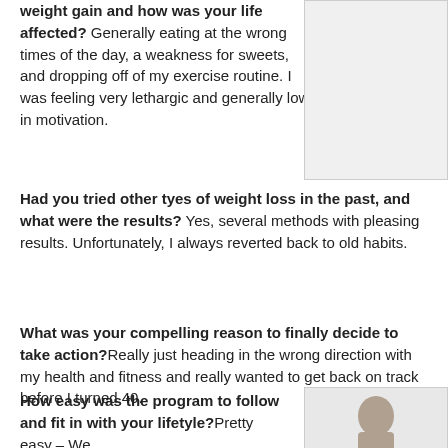weight gain and how was your life affected? Generally eating at the wrong times of the day, a weakness for sweets, and dropping off of my exercise routine. I was feeling very lethargic and generally low in motivation.
[Figure (photo): A portrait photo placeholder in the top-right area, appears blank/light]
Had you tried other tyes of weight loss in the past, and what were the results? Yes, several methods with pleasing results. Unfortunately, I always reverted back to old habits.
What was your compelling reason to finally decide to take action?Really just heading in the wrong direction with my health and fitness and really wanted to get back on track before I turned 40.
How easy was the program to follow and fit in with your lifetyle?Pretty easy – We
[Figure (photo): A partial portrait photo of a man, visible from shoulders up, bottom-right area]